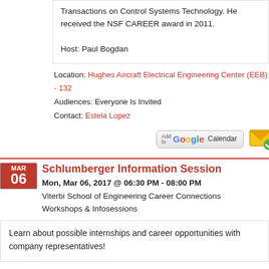Transactions on Control Systems Technology. He received the NSF CAREER award in 2011.

Host: Paul Bogdan
Location: Hughes Aircraft Electrical Engineering Center (EEB) - 132
Audiences: Everyone Is Invited
Contact: Estela Lopez
[Figure (screenshot): Add to Google Calendar button and iCal icon buttons]
Schlumberger Information Session
Mon, Mar 06, 2017 @ 06:30 PM - 08:00 PM
Viterbi School of Engineering Career Connections
Workshops & Infosessions
Learn about possible internships and career opportunities with company representatives!
Location: Seeley G. Mudd Building (SGM) - 101
Audiences: All Viterbi
Contact: RTH 218 Viterbi Career Connections